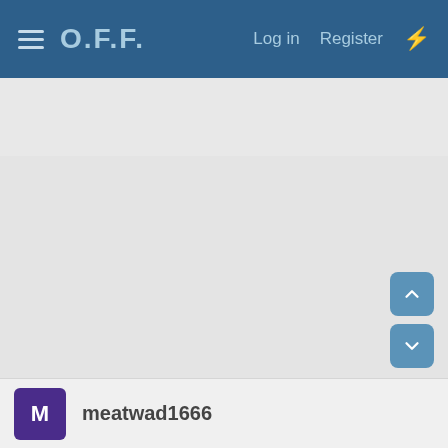O.F.F.  Log in  Register
[Figure (screenshot): Large empty grey content area below the navigation header]
meatwad1666